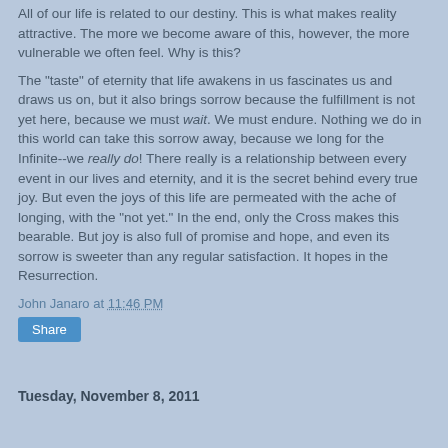All of our life is related to our destiny. This is what makes reality attractive. The more we become aware of this, however, the more vulnerable we often feel. Why is this?

The "taste" of eternity that life awakens in us fascinates us and draws us on, but it also brings sorrow because the fulfillment is not yet here, because we must wait. We must endure. Nothing we do in this world can take this sorrow away, because we long for the Infinite--we really do! There really is a relationship between every event in our lives and eternity, and it is the secret behind every true joy.  But even the joys of this life are permeated with the ache of longing, with the "not yet." In the end, only the Cross makes this bearable. But joy is also full of promise and hope, and even its sorrow is sweeter than any regular satisfaction. It hopes in the Resurrection.
John Janaro at 11:46 PM
Share
Tuesday, November 8, 2011